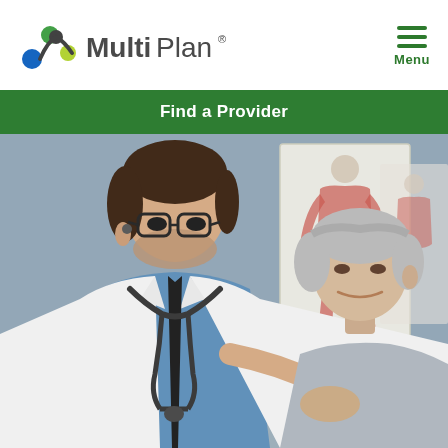[Figure (logo): MultiPlan logo with colorful dots icon and MultiPlan wordmark in grey and dark text]
[Figure (illustration): Hamburger menu icon (three horizontal green lines) with Menu label below in green]
Find a Provider
[Figure (photo): A male doctor in white coat with stethoscope and glasses examining an elderly female patient. A muscular anatomy poster is visible in the background.]